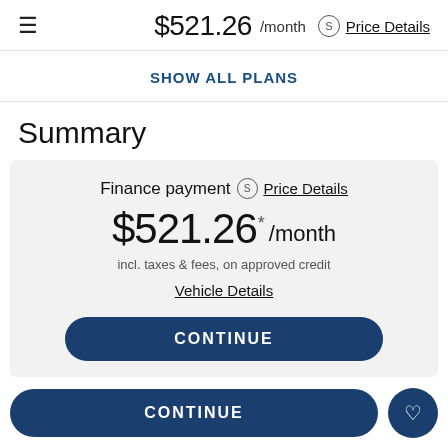≡  $521.26 /month  S  Price Details
SHOW ALL PLANS
Summary
Finance payment  S  Price Details
$521.26 * /month
incl. taxes & fees, on approved credit
Vehicle Details
CONTINUE
CONTINUE